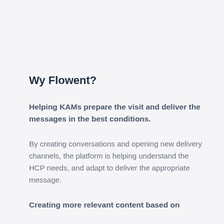Wy Flowent?
Helping KAMs prepare the visit and deliver the messages in the best conditions.
By creating conversations and opening new delivery channels, the platform is helping understand the HCP needs, and adapt to deliver the appropriate message.
Creating more relevant content based on